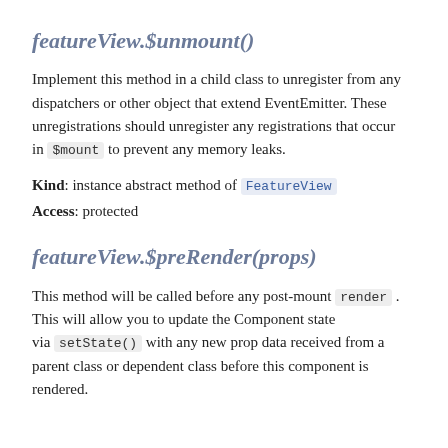featureView.$unmount()
Implement this method in a child class to unregister from any dispatchers or other object that extend EventEmitter. These unregistrations should unregister any registrations that occur in $mount to prevent any memory leaks.
Kind: instance abstract method of FeatureView
Access: protected
featureView.$preRender(props)
This method will be called before any post-mount render . This will allow you to update the Component state via setState() with any new prop data received from a parent class or dependent class before this component is rendered.